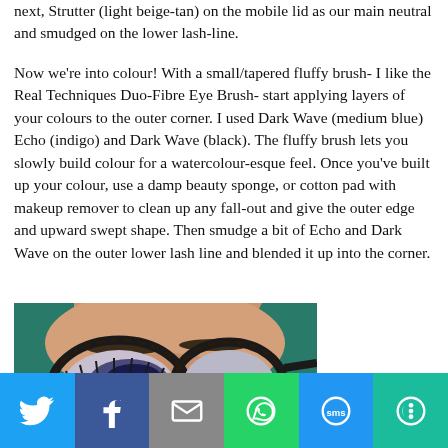next, Strutter (light beige-tan) on the mobile lid as our main neutral and smudged on the lower lash-line.
Now we're into colour! With a small/tapered fluffy brush- I like the Real Techniques Duo-Fibre Eye Brush- start applying layers of your colours to the outer corner. I used Dark Wave (medium blue) Echo (indigo) and Dark Wave (black). The fluffy brush lets you slowly build colour for a watercolour-esque feel. Once you've built up your colour, use a damp beauty sponge, or cotton pad with makeup remover to clean up any fall-out and give the outer edge and upward swept shape. Then smudge a bit of Echo and Dark Wave on the outer lower lash line and blended it up into the corner.
[Figure (photo): Close-up photo of a woman with teal/green hair wearing cat-eye glasses with tortoiseshell frames, eyes closed showing dramatic dark eye makeup with blue/indigo eyeshadow.]
Social sharing bar: Twitter, Facebook, Email, WhatsApp, SMS, More